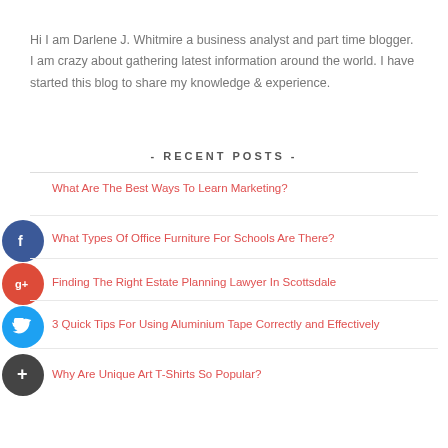Hi I am Darlene J. Whitmire a business analyst and part time blogger. I am crazy about gathering latest information around the world. I have started this blog to share my knowledge & experience.
- RECENT POSTS -
What Are The Best Ways To Learn Marketing?
What Types Of Office Furniture For Schools Are There?
Finding The Right Estate Planning Lawyer In Scottsdale
3 Quick Tips For Using Aluminium Tape Correctly and Effectively
Why Are Unique Art T-Shirts So Popular?